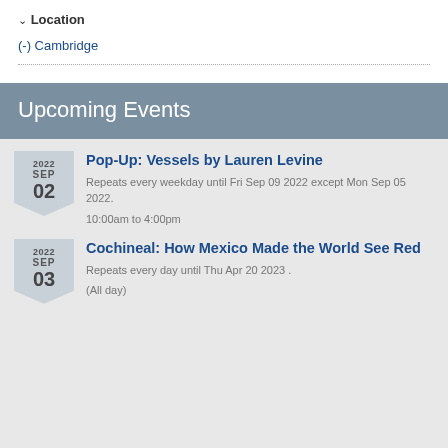Location
(-) Cambridge
Upcoming Events
Pop-Up: Vessels by Lauren Levine
Repeats every weekday until Fri Sep 09 2022 except Mon Sep 05 2022.
10:00am to 4:00pm
Cochineal: How Mexico Made the World See Red
Repeats every day until Thu Apr 20 2023 .
(All day)